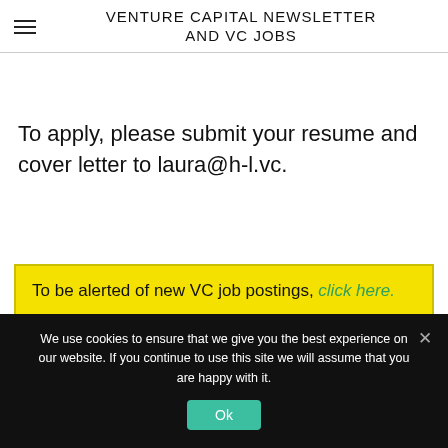VENTURE CAPITAL NEWSLETTER AND VC JOBS
To apply, please submit your resume and cover letter to laura@h-l.vc.
To be alerted of new VC job postings, click here.
We use cookies to ensure that we give you the best experience on our website. If you continue to use this site we will assume that you are happy with it.